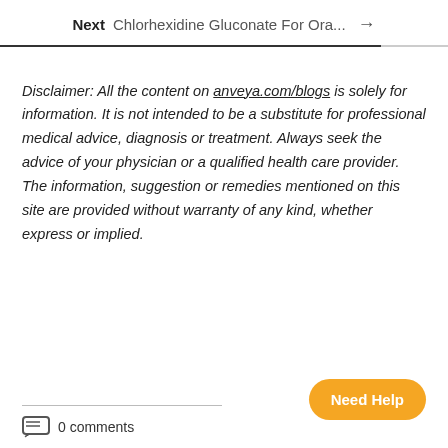Next  Chlorhexidine Gluconate For Ora…  →
Disclaimer: All the content on anveya.com/blogs is solely for information. It is not intended to be a substitute for professional medical advice, diagnosis or treatment. Always seek the advice of your physician or a qualified health care provider. The information, suggestion or remedies mentioned on this site are provided without warranty of any kind, whether express or implied.
0 comments